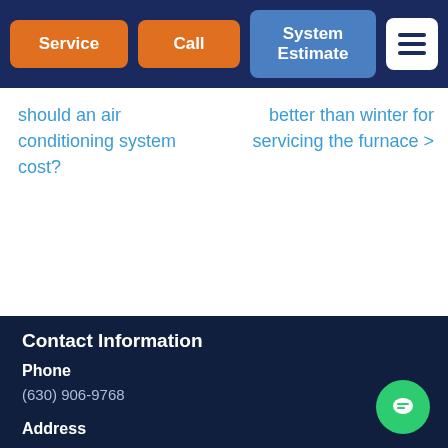Service | Call | System Estimate | Menu
should an air conditioning system cost?
better than winter for servicing the furnace >
Contact Information
Phone
(630) 906-9768
Address